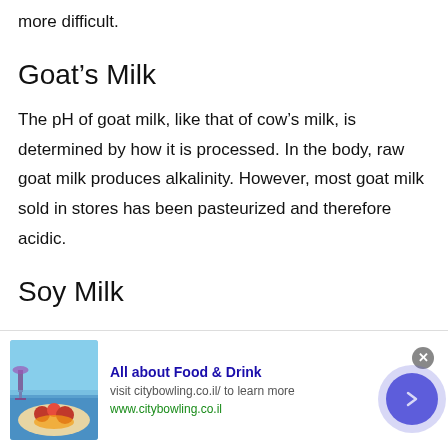more difficult.
Goat's Milk
The pH of goat milk, like that of cow's milk, is determined by how it is processed. In the body, raw goat milk produces alkalinity. However, most goat milk sold in stores has been pasteurized and therefore acidic.
Soy Milk
Soy milk is made from legumes called soy beans. Soy beans, unlike most legumes, are neutral or alkaline in
[Figure (infographic): Advertisement banner for 'All about Food & Drink' with food image, text 'visit citybowling.co.il/ to learn more', URL 'www.citybowling.co.il', arrow button, and close button]